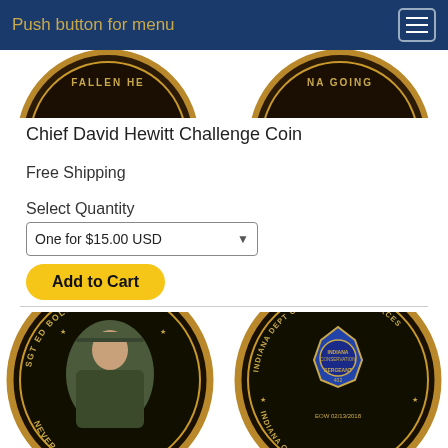Push button for menu
[Figure (photo): Two challenge coins partially cropped at top — left coin shows 'FALLEN HE...' text, right coin shows 'NA GOING...' text]
Chief David Hewitt Challenge Coin
Free Shipping
Select Quantity
One for $15.00 USD
Add to Cart
[Figure (photo): Two challenge coins: left coin shows 'SGT ED BOLLMAN #402' and officer portrait with 'NEVER FORGOTTEN' text; right coin shows 'INDIANA DEPT OF NATURAL RESOURCES' with Indiana Conservation Officer Sergeant badge and 'INDIANA GOING BLUE' text, EOW 02/13/2018]